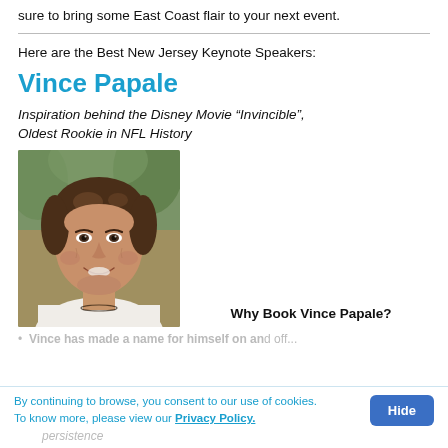sure to bring some East Coast flair to your next event.
Here are the Best New Jersey Keynote Speakers:
Vince Papale
Inspiration behind the Disney Movie “Invincible”, Oldest Rookie in NFL History
[Figure (photo): Headshot photo of Vince Papale, a middle-aged man with brown hair, smiling, wearing a white shirt, outdoors with green background.]
Why Book Vince Papale?
Vince has made a name for himself on and off...
By continuing to browse, you consent to our use of cookies. To know more, please view our Privacy Policy.
persistence